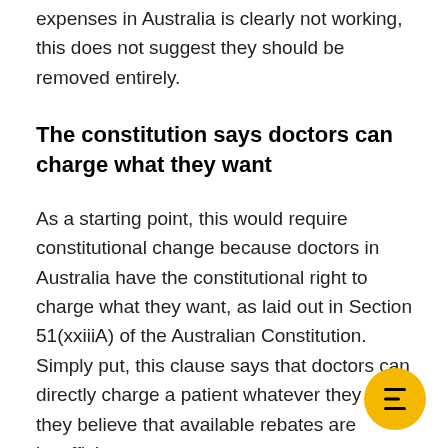expenses in Australia is clearly not working, this does not suggest they should be removed entirely.
The constitution says doctors can charge what they want
As a starting point, this would require constitutional change because doctors in Australia have the constitutional right to charge what they want, as laid out in Section 51(xxiiiA) of the Australian Constitution. Simply put, this clause says that doctors can directly charge a patient whatever they like if they believe that available rebates are insufficient.